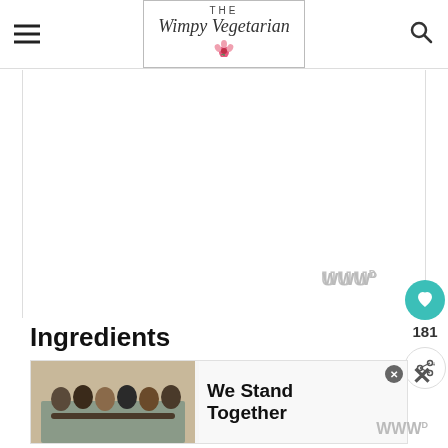THE Wimpy Vegetarian
[Figure (illustration): Large blank white content area placeholder for main article image]
Ingredients
[Figure (photo): Advertisement banner showing group of people with text 'We Stand Together']